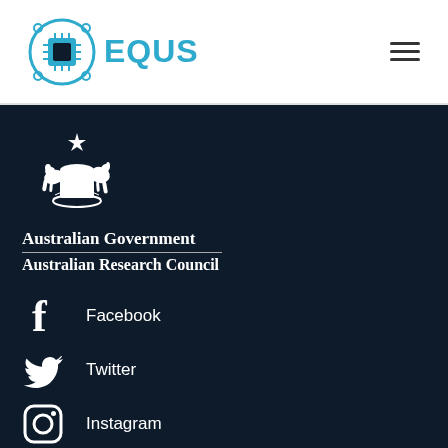[Figure (logo): EQUUS logo with blue circuit-board circular icon and 'EQUUS' text in blue]
[Figure (other): Hamburger menu icon (three horizontal lines)]
[Figure (logo): Australian Government coat of arms crest in white on dark background]
Australian Government
Australian Research Council
Facebook
Twitter
Instagram
Linkedin